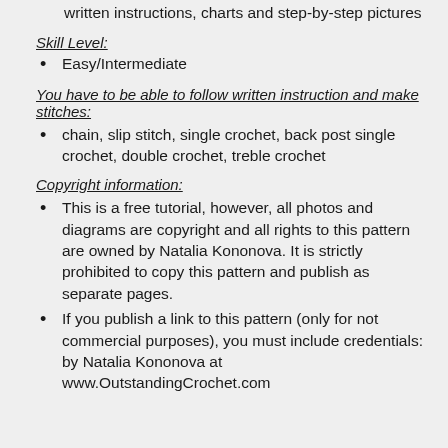written instructions, charts and step-by-step pictures
Skill Level:
Easy/Intermediate
You have to be able to follow written instruction and make stitches:
chain, slip stitch, single crochet, back post single crochet, double crochet, treble crochet
Copyright information:
This is a free tutorial, however, all photos and diagrams are copyright and all rights to this pattern are owned by Natalia Kononova. It is strictly prohibited to copy this pattern and publish as separate pages.
If you publish a link to this pattern (only for not commercial purposes), you must include credentials: by Natalia Kononova at www.OutstandingCrochet.com